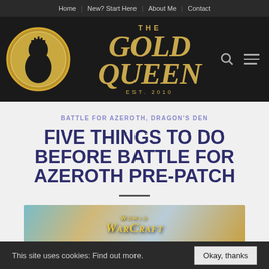Home | New? Start Here | About Me | Contact
[Figure (logo): The Gold Queen website logo — circular gold coin with silhouette of a queen's profile, next to stylized italic text 'THE GOLD QUEEN EST. 2010' in gold on a dark background]
BATTLE FOR AZEROTH, DRAGON'S DEN
FIVE THINGS TO DO BEFORE BATTLE FOR AZEROTH PRE-PATCH
[Figure (screenshot): World of Warcraft game art showing fantasy characters with the World of Warcraft logo text overlay]
This site uses cookies: Find out more. Okay, thanks